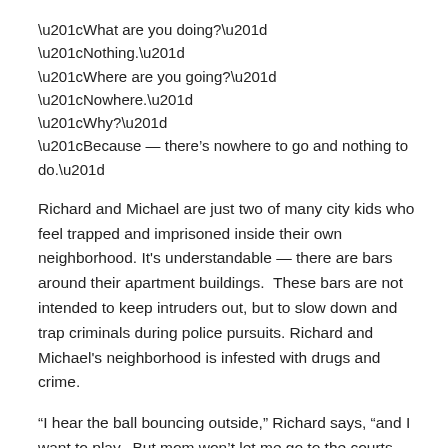“What are you doing?”
“Nothing.”
“Where are you going?”
“Nowhere.”
“Why?”
“Because — there’s nowhere to go and nothing to do.”
Richard and Michael are just two of many city kids who feel trapped and imprisoned inside their own neighborhood. It’s understandable — there are bars around their apartment buildings.  These bars are not intended to keep intruders out, but to slow down and trap criminals during police pursuits. Richard and Michael’s neighborhood is infested with drugs and crime.
“I hear the ball bouncing outside,” Richard says, “and I want to play.  But mom won’t let me go to the courts